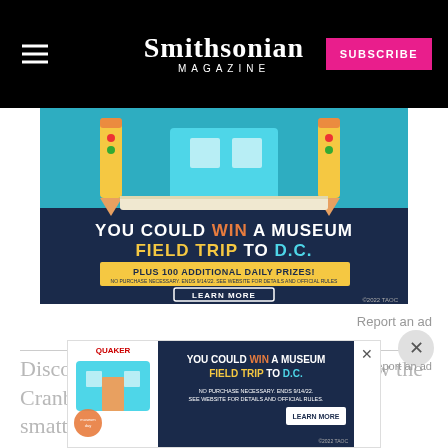Smithsonian MAGAZINE
[Figure (illustration): Advertisement banner: teal background with pencils and school building illustration, text reads 'YOU COULD WIN A MUSEUM FIELD TRIP TO D.C. PLUS 100 ADDITIONAL DAILY PRIZES! NO PURCHASE NECESSARY. ENDS 9/14/22. SEE WEBSITE FOR DETAILS AND OFFICIAL RULES. LEARN MORE ©2022 TAOC']
Report an ad
Discovered beneath the site of what's now the Cranb...s haul includes an impressive smattering of
Report an ad
[Figure (illustration): Small overlay advertisement: Quaker brand with museum field trip promotion 'YOU COULD WIN A MUSEUM FIELD TRIP TO D.C.' with LEARN MORE button. ©2022 TAOC]